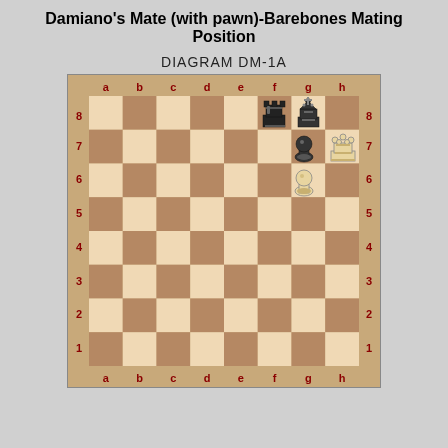Damiano's Mate (with pawn)-Barebones Mating Position
DIAGRAM DM-1A
[Figure (other): Chess board diagram showing Damiano's Mate barebones mating position. Black rook on f8, black king on g8, black pawn on g7, white queen on h7, white pawn on g6. Board labeled with files a-h and ranks 1-8.]